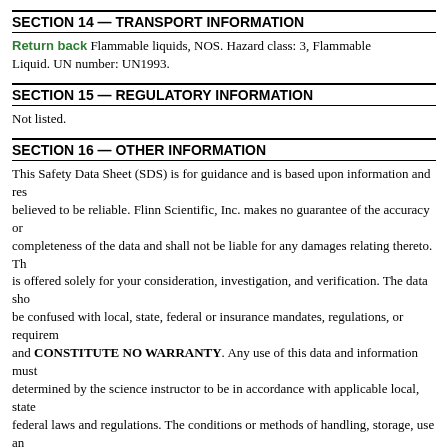SECTION 14 — TRANSPORT INFORMATION
Shipping name: Flammable liquids, NOS. Hazard class: 3, Flammable Liquid. UN number: UN1993.
SECTION 15 — REGULATORY INFORMATION
Not listed.
SECTION 16 — OTHER INFORMATION
This Safety Data Sheet (SDS) is for guidance and is based upon information and res believed to be reliable. Flinn Scientific, Inc. makes no guarantee of the accuracy or completeness of the data and shall not be liable for any damages relating thereto. This is offered solely for your consideration, investigation, and verification. The data sho be confused with local, state, federal or insurance mandates, regulations, or requirem and CONSTITUTE NO WARRANTY. Any use of this data and information must determined by the science instructor to be in accordance with applicable local, state federal laws and regulations. The conditions or methods of handling, storage, use an disposal of the product(s) described are beyond the control of Flinn Scientific, Inc. a be beyond our knowledge. FOR THIS AND OTHER REASONS, WE DO NOT ASSUME RESPONSIBILITY AND EXPRESSLY DISCLAIM LIABILITY FOR DAMAGE OR EXPENSE ARISING OUT OF OR IN ANY WAY CONNECTE WITH THE HANDLING, STORAGE, USE OR DISPOSAL OF THIS PRODUCT(S).